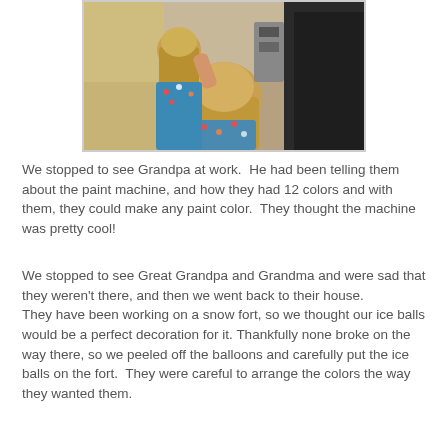[Figure (photo): Two children with blonde hair, one in a floral dress, viewed from behind, looking at something (a paint machine at Grandpa's workplace). An adult in dark clothing is partially visible on the right.]
We stopped to see Grandpa at work.  He had been telling them about the paint machine, and how they had 12 colors and with them, they could make any paint color.  They thought the machine was pretty cool!
We stopped to see Great Grandpa and Grandma and were sad that they weren't there, and then we went back to their house.
They have been working on a snow fort, so we thought our ice balls would be a perfect decoration for it. Thankfully none broke on the way there, so we peeled off the balloons and carefully put the ice balls on the fort.  They were careful to arrange the colors the way they wanted them.